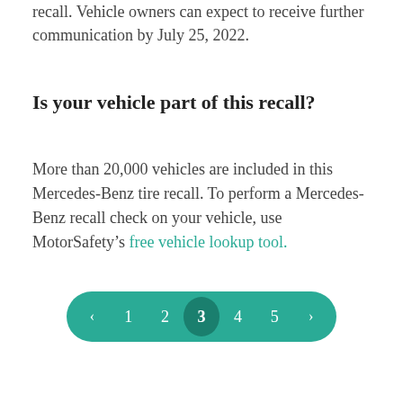recall. Vehicle owners can expect to receive further communication by July 25, 2022.
Is your vehicle part of this recall?
More than 20,000 vehicles are included in this Mercedes-Benz tire recall. To perform a Mercedes-Benz recall check on your vehicle, use MotorSafety’s free vehicle lookup tool.
‹ 1 2 3 4 5 ›